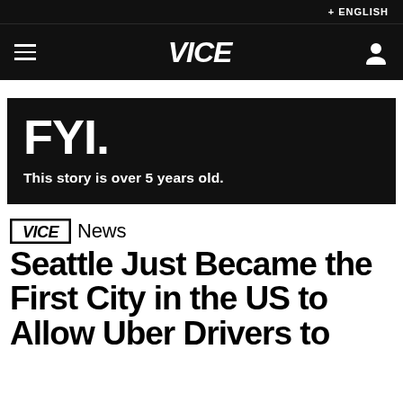+ ENGLISH
VICE (logo) — navigation bar with hamburger menu and user icon
[Figure (screenshot): FYI banner — black background with large bold 'FYI.' text and subtitle 'This story is over 5 years old.']
VICE News
Seattle Just Became the First City in the US to Allow Uber Drivers to